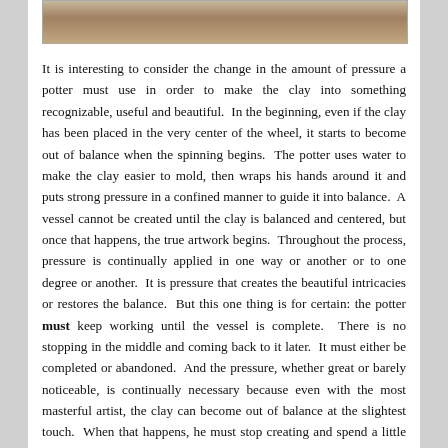[Figure (photo): Partial photograph visible at top of page, appearing to show a person or figure, cropped to show only the bottom portion.]
It is interesting to consider the change in the amount of pressure a potter must use in order to make the clay into something recognizable, useful and beautiful.  In the beginning, even if the clay has been placed in the very center of the wheel, it starts to become out of balance when the spinning begins.  The potter uses water to make the clay easier to mold, then wraps his hands around it and puts strong pressure in a confined manner to guide it into balance.  A vessel cannot be created until the clay is balanced and centered, but once that happens, the true artwork begins.  Throughout the process, pressure is continually applied in one way or another or to one degree or another.  It is pressure that creates the beautiful intricacies or restores the balance.  But this one thing is for certain: the potter must keep working until the vessel is complete.  There is no stopping in the middle and coming back to it later.  It must either be completed or abandoned.  And the pressure, whether great or barely noticeable, is continually necessary because even with the most masterful artist, the clay can become out of balance at the slightest touch.  When that happens, he must stop creating and spend a little time applying